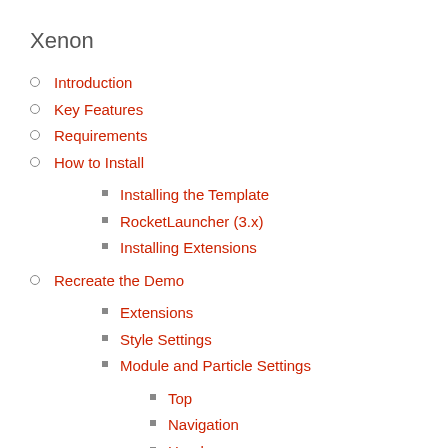Xenon
Introduction
Key Features
Requirements
How to Install
Installing the Template
RocketLauncher (3.x)
Installing Extensions
Recreate the Demo
Extensions
Style Settings
Module and Particle Settings
Top
Navigation
Header
Above